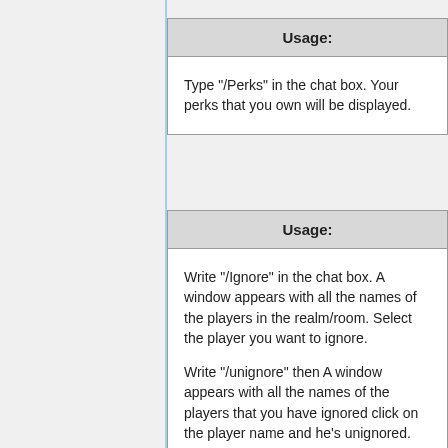| Usage: |
| --- |
| Type "/Perks" in the chat box. Your perks that you own will be displayed. |
| Usage: |
| --- |
| Write "/Ignore" in the chat box. A window appears with all the names of the players in the realm/room. Select the player you want to ignore.

Write "/unignore" then A window appears with all the names of the players that you have ignored click on the player name and he's unignored. |